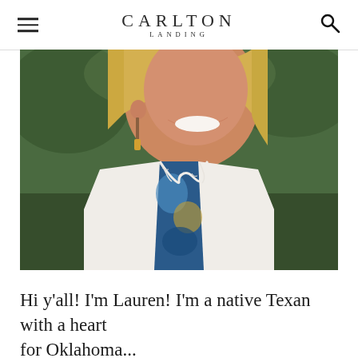CARLTON LANDING
[Figure (photo): Close-up photo of a smiling blonde woman wearing a white cardigan over a blue and yellow patterned top with lace trim, and dangling earrings, photographed outdoors.]
Hi y'all! I'm Lauren! I'm a native Texan with a heart for Oklahoma...